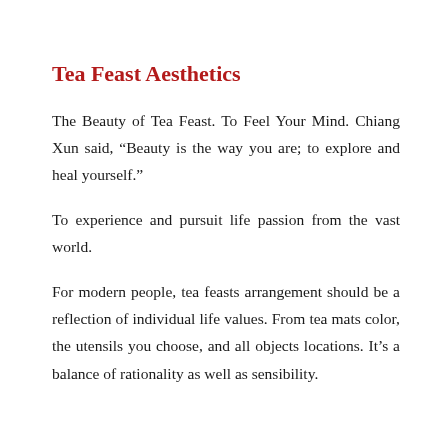Tea Feast Aesthetics
The Beauty of Tea Feast. To Feel Your Mind. Chiang Xun said, “Beauty is the way you are; to explore and heal yourself.”
To experience and pursuit life passion from the vast world.
For modern people, tea feasts arrangement should be a reflection of individual life values. From tea mats color, the utensils you choose, and all objects locations. It’s a balance of rationality as well as sensibility.